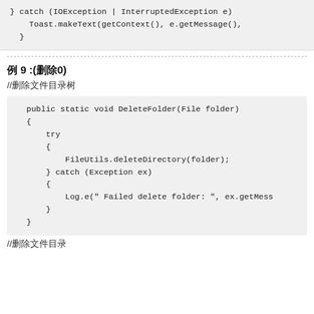[Figure (screenshot): Code snippet showing catch block with IOException and InterruptedException handling using Toast.makeText]
例 9 :(删除0)
//删除文件目录树
[Figure (screenshot): Code snippet showing public static void DeleteFolder(File folder) method with try/catch block using FileUtils.deleteDirectory and Log.e]
//删除文件目录